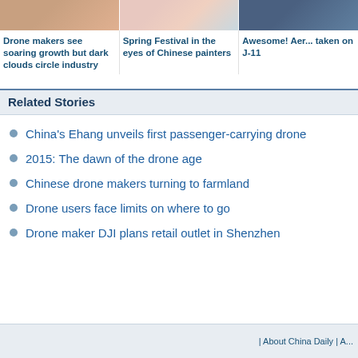[Figure (photo): Three cropped news thumbnail images side by side at the top of the page]
Drone makers see soaring growth but dark clouds circle industry
Spring Festival in the eyes of Chinese painters
Awesome! Aer... taken on J-11
Related Stories
China's Ehang unveils first passenger-carrying drone
2015: The dawn of the drone age
Chinese drone makers turning to farmland
Drone users face limits on where to go
Drone maker DJI plans retail outlet in Shenzhen
| About China Daily | A...